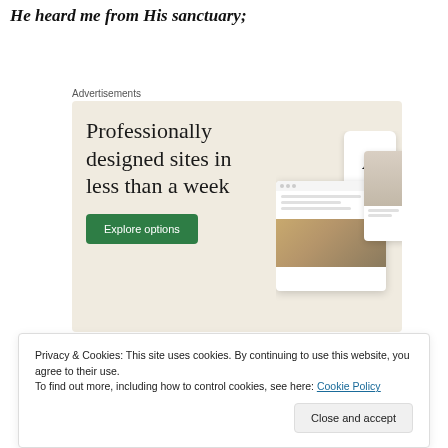He heard me from His sanctuary;
[Figure (screenshot): Advertisement banner showing 'Professionally designed sites in less than a week' with an Explore options button and website mockup images on a beige background.]
Privacy & Cookies: This site uses cookies. By continuing to use this website, you agree to their use.
To find out more, including how to control cookies, see here: Cookie Policy